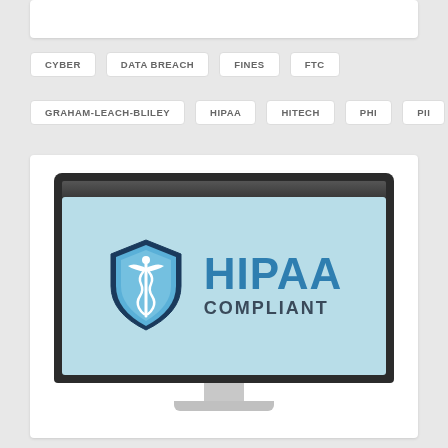CYBER
DATA BREACH
FINES
FTC
GRAHAM-LEACH-BLILEY
HIPAA
HITECH
PHI
PII
[Figure (illustration): A computer monitor displaying a HIPAA Compliant logo — a blue caduceus shield on the left and bold blue text reading HIPAA COMPLIANT on the right, against a light blue screen background. The monitor sits on a silver stand.]